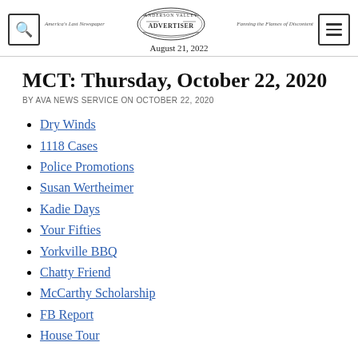Anderson Valley Advertiser — America's Last Newspaper — Fanning the Flames of Discontent — August 21, 2022
MCT: Thursday, October 22, 2020
BY AVA NEWS SERVICE ON OCTOBER 22, 2020
Dry Winds
1118 Cases
Police Promotions
Susan Wertheimer
Kadie Days
Your Fifties
Yorkville BBQ
Chatty Friend
McCarthy Scholarship
FB Report
House Tour